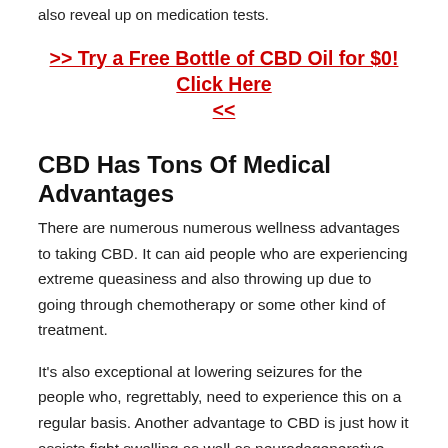also reveal up on medication tests.
>> Try a Free Bottle of CBD Oil for $0! Click Here <<
CBD Has Tons Of Medical Advantages
There are numerous numerous wellness advantages to taking CBD. It can aid people who are experiencing extreme queasiness and also throwing up due to going through chemotherapy or some other kind of treatment.
It's also exceptional at lowering seizures for the people who, regrettably, need to experience this on a regular basis. Another advantage to CBD is just how it assists fight swelling as well as neurodegenerative problems. It's additionally superb for minimizing people who need to